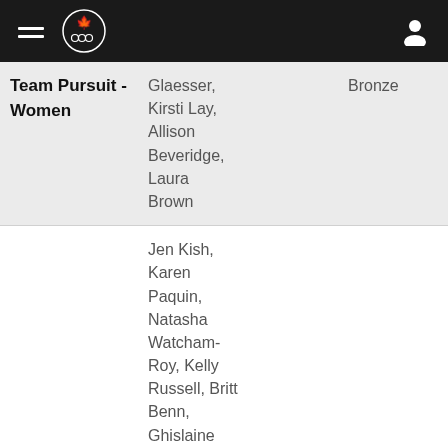Canadian Olympic Committee navigation bar
| Event | Athletes | Medal | Extra |
| --- | --- | --- | --- |
| Team Pursuit - Women | Glaesser, Kirsti Lay, Allison Beveridge, Laura Brown | Bronze | C T |
| Women | Jen Kish, Karen Paquin, Natasha Watcham-Roy, Kelly Russell, Britt Benn, Ghislaine Landry, Hannah Darling, Megan Lukan, | Bronze | R |